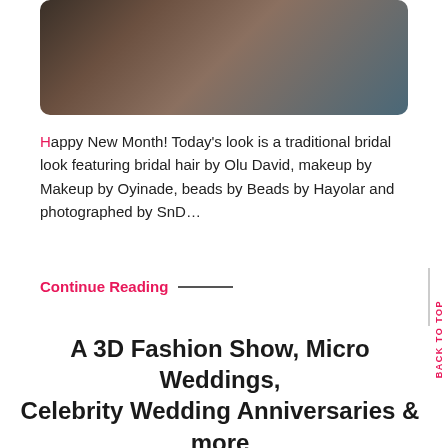[Figure (photo): Portrait of a woman in profile view wearing traditional white beaded necklace and earrings, hair styled upward, against a grey-blue background]
Happy New Month! Today's look is a traditional bridal look featuring bridal hair by Olu David, makeup by Makeup by Oyinade, beads by Beads by Hayolar and photographed by SnD…
Continue Reading —
A 3D Fashion Show, Micro Weddings, Celebrity Wedding Anniversaries & more